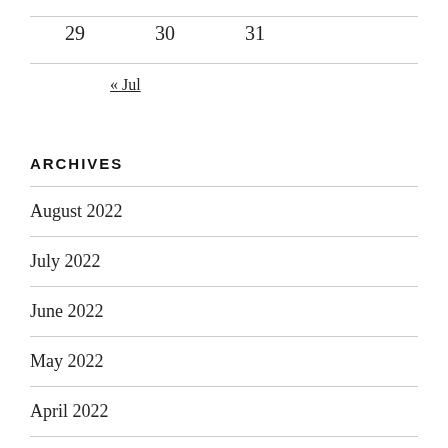| 29 | 30 | 31 |
« Jul
ARCHIVES
August 2022
July 2022
June 2022
May 2022
April 2022
March 2022